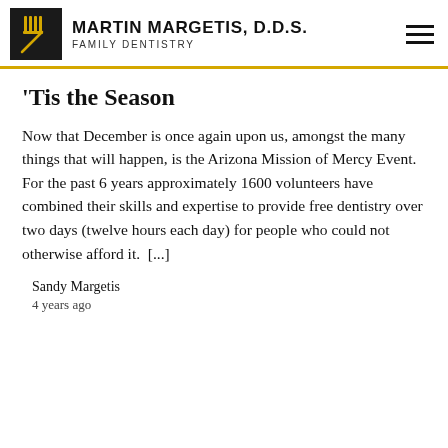Martin Margetis, D.D.S. Family Dentistry
'Tis the Season
Now that December is once again upon us, amongst the many things that will happen, is the Arizona Mission of Mercy Event.  For the past 6 years approximately 1600 volunteers have combined their skills and expertise to provide free dentistry over two days (twelve hours each day) for people who could not otherwise afford it.  [...]
Sandy Margetis
4 years ago